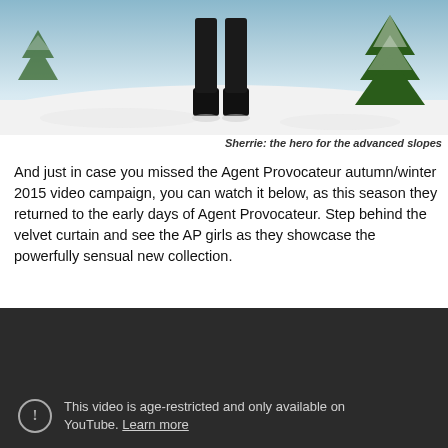[Figure (photo): Photo of a person's legs wearing tall black fur boots/platform boots, standing in a snowy winter scene with snow-covered pine trees in the background.]
Sherrie: the hero for the advanced slopes
And just in case you missed the Agent Provocateur autumn/winter 2015 video campaign, you can watch it below, as this season they returned to the early days of Agent Provocateur. Step behind the velvet curtain and see the AP girls as they showcase the powerfully sensual new collection.
[Figure (screenshot): A dark YouTube video embed showing an age-restriction warning: 'This video is age-restricted and only available on YouTube. Learn more' with an info/warning icon on the left.]